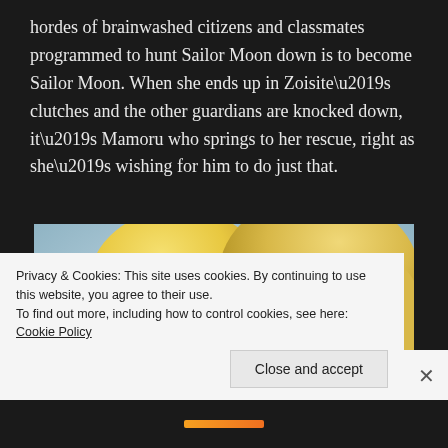hordes of brainwashed citizens and classmates programmed to hunt Sailor Moon down is to become Sailor Moon. When she ends up in Zoisite’s clutches and the other guardians are knocked down, it’s Mamoru who springs to her rescue, right as she’s wishing for him to do just that.
[Figure (photo): Anime screenshot showing two blonde female characters from Sailor Moon in close-up, one with blue eyes wearing a tiara and one with green eyes, both with fair skin against a light background.]
Privacy & Cookies: This site uses cookies. By continuing to use this website, you agree to their use.
To find out more, including how to control cookies, see here: Cookie Policy
Close and accept